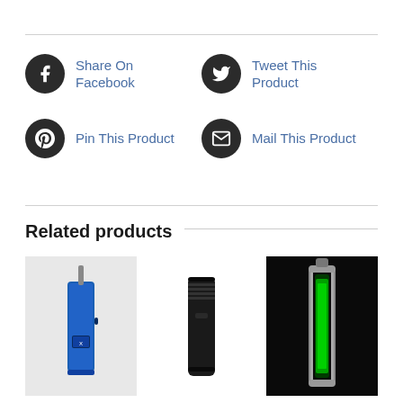Share On Facebook
Tweet This Product
Pin This Product
Mail This Product
Related products
[Figure (photo): Blue vaporizer device on grey background]
[Figure (photo): Black vaporizer device on white background]
[Figure (photo): Silver and green glowing device on dark background]